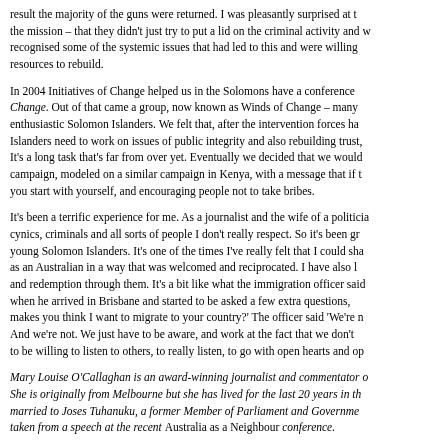result the majority of the guns were returned. I was pleasantly surprised at the mission – that they didn't just try to put a lid on the criminal activity and recognised some of the systemic issues that had led to this and were willing resources to rebuild.
In 2004 Initiatives of Change helped us in the Solomons have a conference Change. Out of that came a group, now known as Winds of Change – many enthusiastic Solomon Islanders. We felt that, after the intervention forces ha Islanders need to work on issues of public integrity and also rebuilding trust, It's a long task that's far from over yet. Eventually we decided that we would campaign, modeled on a similar campaign in Kenya, with a message that if you start with yourself, and encouraging people not to take bribes.
It's been a terrific experience for me. As a journalist and the wife of a politicia cynics, criminals and all sorts of people I don't really respect. So it's been gr young Solomon Islanders. It's one of the times I've really felt that I could sha as an Australian in a way that was welcomed and reciprocated. I have also l and redemption through them. It's a bit like what the immigration officer said when he arrived in Brisbane and started to be asked a few extra questions, makes you think I want to migrate to your country?' The officer said 'We're n And we're not. We just have to be aware, and work at the fact that we don't to be willing to listen to others, to really listen, to go with open hearts and op
Mary Louise O'Callaghan is an award-winning journalist and commentator o She is originally from Melbourne but she has lived for the last 20 years in th married to Joses Tuhanuku, a former Member of Parliament and Governme taken from a speech at the recent Australia as a Neighbour conference.